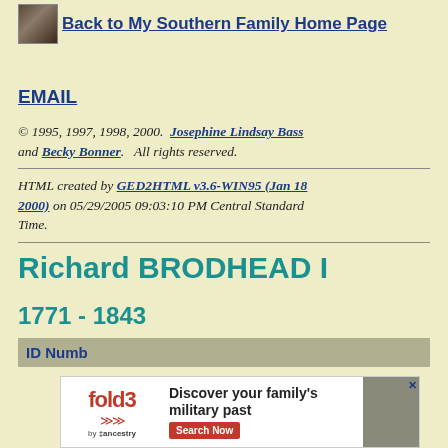Back to My Southern Family Home Page
EMAIL
© 1995, 1997, 1998, 2000.  Josephine Lindsay Bass and Becky Bonner.   All rights reserved.
HTML created by GED2HTML v3.6-WIN95 (Jan 18 2000) on 05/29/2005 09:03:10 PM Central Standard Time.
Richard BRODHEAD I
1771 - 1843
ID Numb